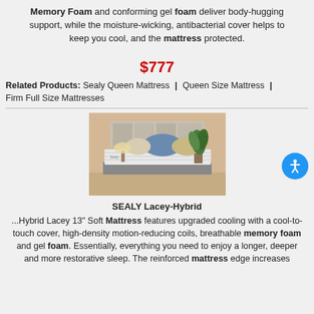Memory Foam and conforming gel foam deliver body-hugging support, while the moisture-wicking, antibacterial cover helps to keep you cool, and the mattress protected.
$777
Related Products: Sealy Queen Mattress | Queen Size Mattress | Firm Full Size Mattresses
[Figure (photo): Photo of a Sealy Lacey-Hybrid mattress on a bed frame in a bedroom setting with pillows and a plant in the background.]
SEALY Lacey-Hybrid
...Hybrid Lacey 13" Soft Mattress features upgraded cooling with a cool-to-touch cover, high-density motion-reducing coils, breathable memory foam and gel foam. Essentially, everything you need to enjoy a longer, deeper and more restorative sleep. The reinforced mattress edge increases